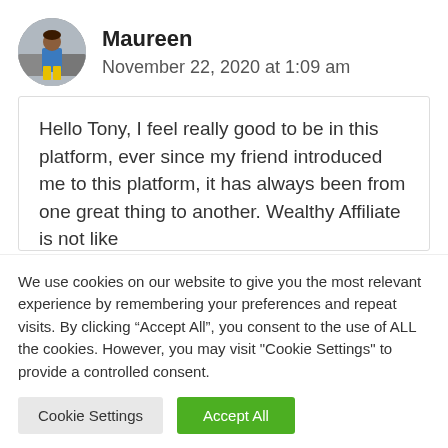[Figure (photo): Circular avatar photo of a woman named Maureen, wearing a blue top and yellow pants, standing outdoors near a vehicle.]
Maureen
November 22, 2020 at 1:09 am
Hello Tony, I feel really good to be in this platform, ever since my friend introduced me to this platform, it has always been from one great thing to another. Wealthy Affiliate is not like
We use cookies on our website to give you the most relevant experience by remembering your preferences and repeat visits. By clicking “Accept All”, you consent to the use of ALL the cookies. However, you may visit "Cookie Settings" to provide a controlled consent.
Cookie Settings
Accept All